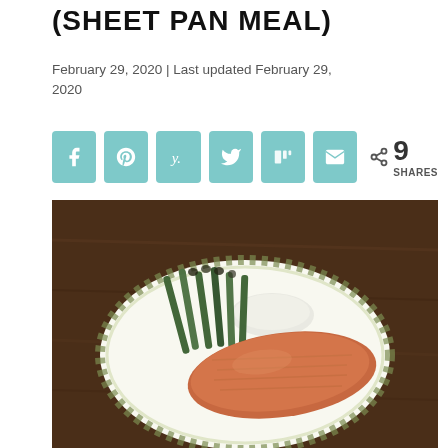(SHEET PAN MEAL)
February 29, 2020 | Last updated February 29, 2020
[Figure (other): Social share buttons row: Facebook, Pinterest, Yummly, Twitter, Mix, Email icons in teal rounded squares, followed by a share icon and '9 SHARES' count]
[Figure (photo): A plate with a cooked salmon fillet, roasted asparagus, and white rice on a decorative green-patterned plate, placed on a dark brown wooden table.]